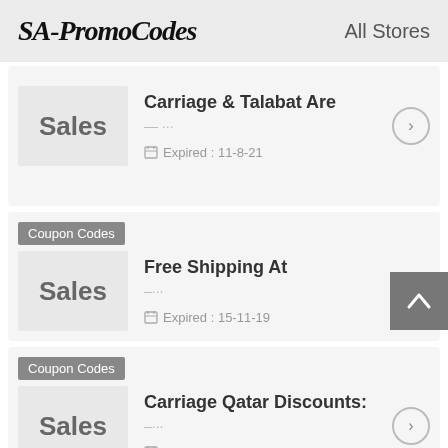SA-PromoCodes   All Stores
Carriage & Talabat Are ... Expired : 11-8-21
Coupon Codes
Free Shipping At
–...
Expired : 15-11-19
Coupon Codes
Carriage Qatar Discounts:
–...
Expired : 3-3-22